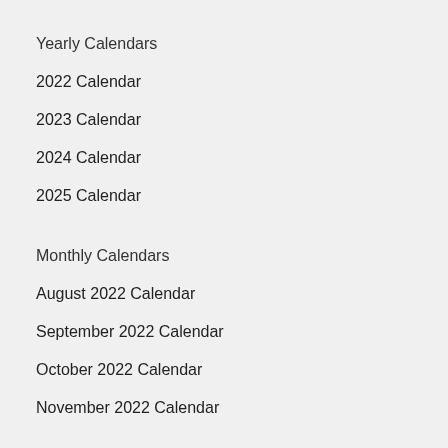Yearly Calendars
2022 Calendar
2023 Calendar
2024 Calendar
2025 Calendar
Monthly Calendars
August 2022 Calendar
September 2022 Calendar
October 2022 Calendar
November 2022 Calendar
Quarterly Calendars
2022 Q3 - July to September
2022 Q4 - October to December